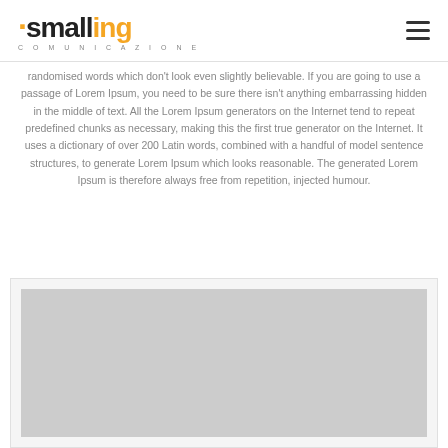smalling comunicazione
randomised words which don't look even slightly believable. If you are going to use a passage of Lorem Ipsum, you need to be sure there isn't anything embarrassing hidden in the middle of text. All the Lorem Ipsum generators on the Internet tend to repeat predefined chunks as necessary, making this the first true generator on the Internet. It uses a dictionary of over 200 Latin words, combined with a handful of model sentence structures, to generate Lorem Ipsum which looks reasonable. The generated Lorem Ipsum is therefore always free from repetition, injected humour.
[Figure (photo): A large grey placeholder image block below the body text]